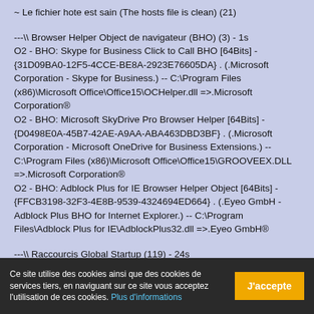~ Le fichier hote est sain (The hosts file is clean) (21)
---\ Browser Helper Object de navigateur (BHO) (3) - 1s
O2 - BHO: Skype for Business Click to Call BHO [64Bits] - {31D09BA0-12F5-4CCE-BE8A-2923E76605DA} . (.Microsoft Corporation - Skype for Business.) -- C:\Program Files (x86)\Microsoft Office\Office15\OCHelper.dll =>.Microsoft Corporation®
O2 - BHO: Microsoft SkyDrive Pro Browser Helper [64Bits] - {D0498E0A-45B7-42AE-A9AA-ABA463DBD3BF} . (.Microsoft Corporation - Microsoft OneDrive for Business Extensions.) -- C:\Program Files (x86)\Microsoft Office\Office15\GROOVEEX.DLL =>.Microsoft Corporation®
O2 - BHO: Adblock Plus for IE Browser Helper Object [64Bits] - {FFCB3198-32F3-4E8B-9539-4324694ED664} . (.Eyeo GmbH - Adblock Plus BHO for Internet Explorer.) -- C:\Program Files\Adblock Plus for IE\AdblockPlus32.dll =>.Eyeo GmbH®
---\ Raccourcis Global Startup (119) - 24s
O4 - GS\Desktop [Administrateur]: ASIO4ALL v2 Instruction...
Ce site utilise des cookies ainsi que des cookies de services tiers, en naviguant sur ce site vous acceptez l'utilisation de ces cookies. Plus d'informations